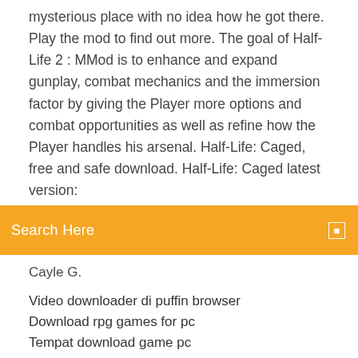mysterious place with no idea how he got there. Play the mod to find out more. The goal of Half-Life 2 : MMod is to enhance and expand gunplay, combat mechanics and the immersion factor by giving the Player more options and combat opportunities as well as refine how the Player handles his arsenal. Half-Life: Caged, free and safe download. Half-Life: Caged latest version:
[Figure (screenshot): Orange search bar with text 'Search Here' and a small square search icon on the right]
Cayle G.
Video downloader di puffin browser
Download rpg games for pc
Tempat download game pc
Msvcr120.dll file free download
Failed to download files from blizzard. blzbntagt000008a4
Wwe 13 xbox 360 save file download
Download large apps without wifi iphone ios 11
Sing karaoke sing karaoke windows app download
Android nomedia file download